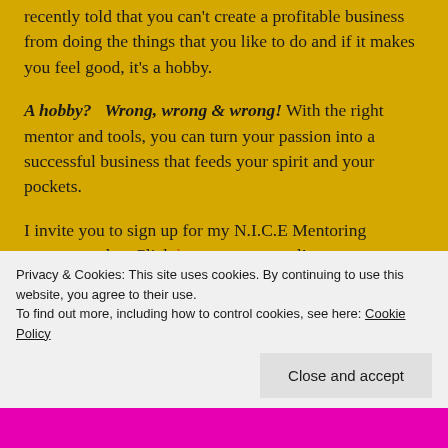recently told that you can't create a profitable business from doing the things that you like to do and if it makes you feel good, it's a hobby.
A hobby? Wrong, wrong & wrong! With the right mentor and tools, you can turn your passion into a successful business that feeds your spirit and your pockets.
I invite you to sign up for my N.I.C.E Mentoring program today. Click here to get started!
Don't give others the power to deter you from following
Privacy & Cookies: This site uses cookies. By continuing to use this website, you agree to their use. To find out more, including how to control cookies, see here: Cookie Policy
Close and accept